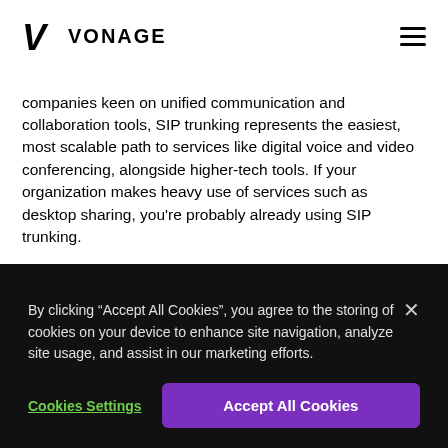VONAGE
companies keen on unified communication and collaboration tools, SIP trunking represents the easiest, most scalable path to services like digital voice and video conferencing, alongside higher-tech tools. If your organization makes heavy use of services such as desktop sharing, you're probably already using SIP trunking.
Turning back to scalability, SIP trunking's virtualized nature gives it obvious advantages over PRI's comparatively restrictive architecture. Where PRI's allowed number of active
By clicking "Accept All Cookies", you agree to the storing of cookies on your device to enhance site navigation, analyze site usage, and assist in our marketing efforts.
standard landline calling, SIP trunking makes outbound